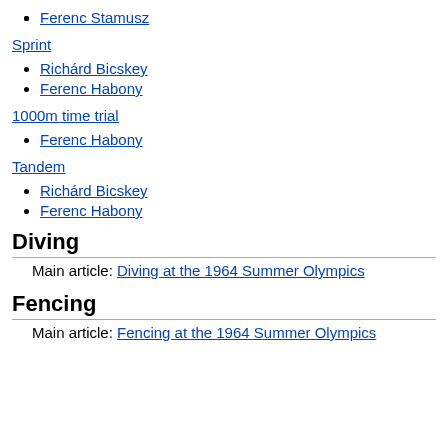Ferenc Stamusz
Sprint
Richárd Bicskey
Ferenc Habony
1000m time trial
Ferenc Habony
Tandem
Richárd Bicskey
Ferenc Habony
Diving
Main article: Diving at the 1964 Summer Olympics
Fencing
Main article: Fencing at the 1964 Summer Olympics